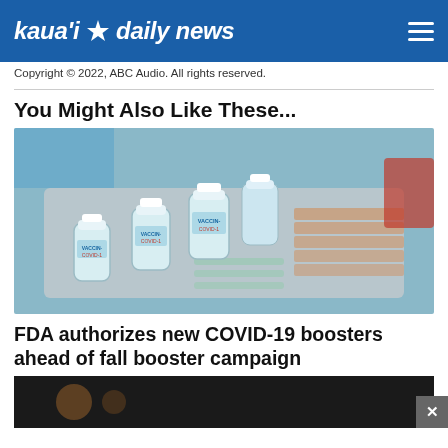kaua'i daily news
Copyright © 2022, ABC Audio. All rights reserved.
You Might Also Like These...
[Figure (photo): COVID-19 vaccine vials labeled 'VACCINE COVID-' on a medical tray with syringes and bandages]
FDA authorizes new COVID-19 boosters ahead of fall booster campaign
[Figure (photo): Dark blurred image at bottom of page, partial view of another article]